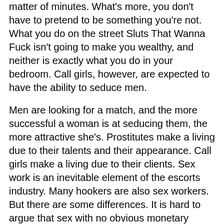matter of minutes. What's more, you don't have to pretend to be something you're not. What you do on the street Sluts That Wanna Fuck isn't going to make you wealthy, and neither is exactly what you do in your bedroom. Call girls, however, are expected to have the ability to seduce men.
Men are looking for a match, and the more successful a woman is at seducing them, the more attractive she's. Prostitutes make a living due to their talents and their appearance. Call girls make a living due to their clients. Sex work is an inevitable element of the escorts industry. Many hookers are also sex workers. But there are some differences. It is hard to argue that sex with no obvious monetary exchange isn't working. Hence, the reason for the prostitutes' demand for cars, houses and other relevant property Local Sluts Leesburg GA to establish a lifestyle that allows them to Fuck Local Girl Leesburg earn more money.